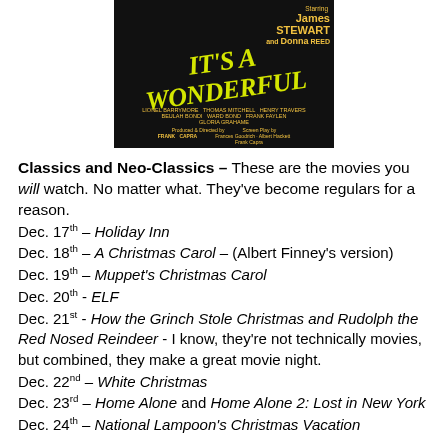[Figure (photo): Movie poster for 'It's a Wonderful Life' featuring title text in yellow-green italic font on black background, starring James Stewart and Donna Reed, produced and directed by Frank Capra]
Classics and Neo-Classics – These are the movies you will watch. No matter what. They've become regulars for a reason.
Dec. 17th – Holiday Inn
Dec. 18th – A Christmas Carol – (Albert Finney's version)
Dec. 19th – Muppet's Christmas Carol
Dec. 20th - ELF
Dec. 21st - How the Grinch Stole Christmas and Rudolph the Red Nosed Reindeer - I know, they're not technically movies, but combined, they make a great movie night.
Dec. 22nd – White Christmas
Dec. 23rd – Home Alone and Home Alone 2: Lost in New York
Dec. 24th – National Lampoon's Christmas Vacation